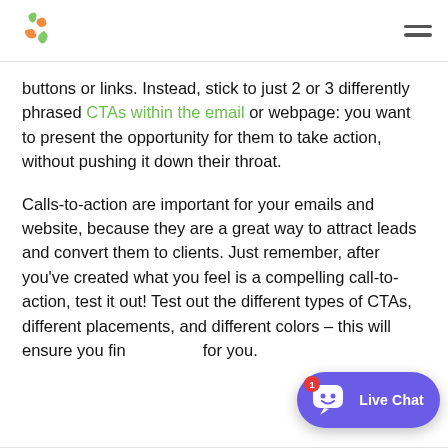[Logo] [Navigation hamburger menu]
buttons or links. Instead, stick to just 2 or 3 differently phrased CTAs within the email or webpage: you want to present the opportunity for them to take action, without pushing it down their throat.
Calls-to-action are important for your emails and website, because they are a great way to attract leads and convert them to clients. Just remember, after you've created what you feel is a compelling call-to-action, test it out! Test out the different types of CTAs, different placements, and different colors – this will ensure you find the best for you.
[Figure (illustration): Live Chat widget with robot/bot face icon and badge showing '1', purple background pill shape with 'Live Chat' text]